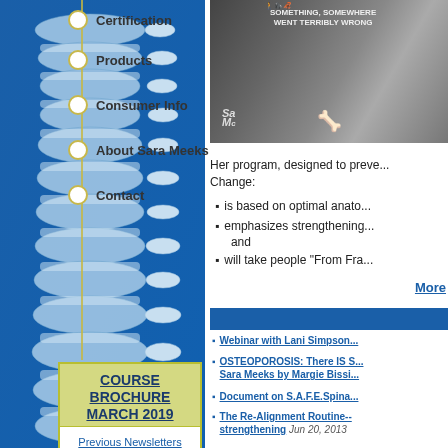[Figure (illustration): Blue anatomical illustration of a human spine/vertebral column on the left side background]
Certification
Products
Consumer Info
About Sara Meeks
Contact
[Figure (photo): Man holding a spine anatomical model, wearing a dark t-shirt with evolution graphic text reading 'something somewhere went terribly wrong', with Sara Meeks watermark]
Her program, designed to preve... Change:
is based on optimal anato...
emphasizes strengthening... and
will take people "From Fra...
More
COURSE BROCHURE MARCH 2019
Previous Newsletters
Webinar with Lani Simpson...
OSTEOPOROSIS: There IS S... Sara Meeks by Margie Bissi...
Document on S.A.F.E.Spina...
The Re-Alignment Routine-- strengthening  Jun 20, 2013